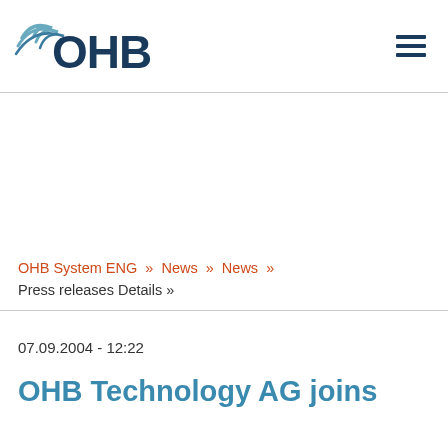OHB [logo]
OHB System ENG » News » News » Press releases Details »
07.09.2004 - 12:22
OHB Technology AG joins